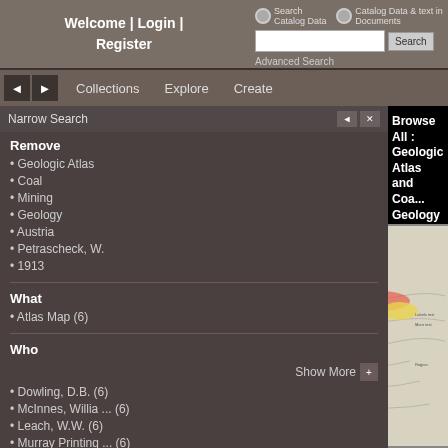[Figure (screenshot): Web browser screenshot of a digital library catalog interface showing a 'Browse All: Geologic Atlas and Coal Geology by Petrascheck, W. of Austria' search results page with a left sidebar showing faceted navigation filters (Geologic Atlas, Coal, Mining, Geology, Austria, Petrascheck W., 1913) and a What/Who section with Atlas Map (6) and person names with counts. The main area shows '1-6 of 6' results with a thumbnail of a geologic map of Austria.]